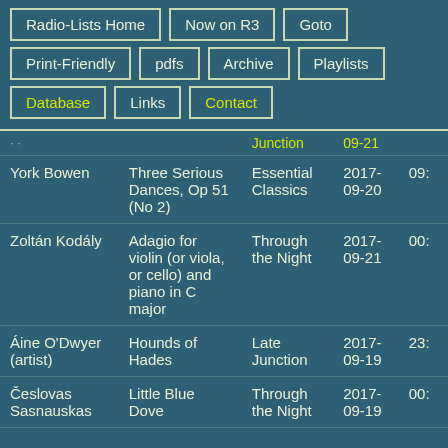Radio-Lists Home
Now on R3
Goto
Print-Friendly
pdfs
Archive
Playlists
Database
Links
Contact
| Artist | Work | Show | Date | Time |
| --- | --- | --- | --- | --- |
|  |  | Junction | 09-21 |  |
| York Bowen | Three Serious Dances, Op 51 (No 2) | Essential Classics | 2017-09-20 | 09: |
| Zoltán Kodály | Adagio for violin (or viola, or cello) and piano in C major | Through the Night | 2017-09-21 | 00: |
| Áine O'Dwyer (artist) | Hounds of Hades | Late Junction | 2017-09-19 | 23: |
| Česlovas Sasnauskas | Little Blue Dove | Through the Night | 2017-09-19 | 00: |